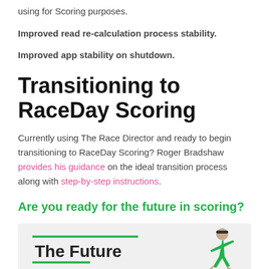using for Scoring purposes.
Improved read re-calculation process stability.
Improved app stability on shutdown.
Transitioning to RaceDay Scoring
Currently using The Race Director and ready to begin transitioning to RaceDay Scoring? Roger Bradshaw provides his guidance on the ideal transition process along with step-by-step instructions.
Are you ready for the future in scoring?
[Figure (illustration): Partial infographic showing 'The Future' text with a running figure in green on a light gray background with green lines]